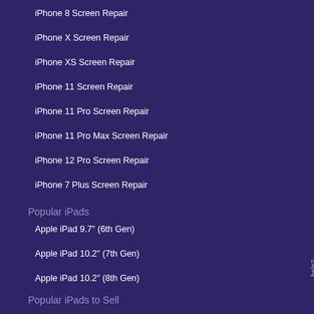iPhone 8 Screen Repair
iPhone X Screen Repair
iPhone XS Screen Repair
iPhone 11 Screen Repair
iPhone 11 Pro Screen Repair
iPhone 11 Pro Max Screen Repair
iPhone 12 Pro Screen Repair
iPhone 7 Plus Screen Repair
Popular iPads
Apple iPad 9.7" (6th Gen)
Apple iPad 10.2" (7th Gen)
Apple iPad 10.2" (8th Gen)
Popular iPads to Sell
Sell an iPad 9.7" (6th Gen)